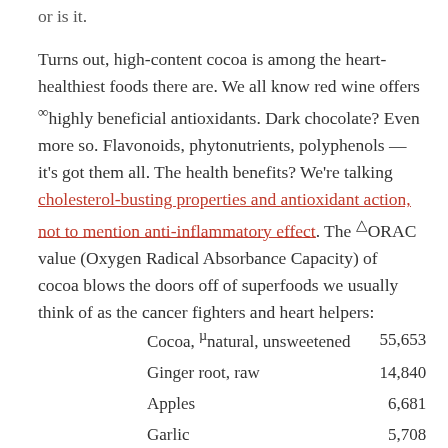or is it.
Turns out, high-content cocoa is among the heart-healthiest foods there are. We all know red wine offers ∞highly beneficial antioxidants. Dark chocolate? Even more so. Flavonoids, phytonutrients, polyphenols — it's got them all. The health benefits? We're talking cholesterol-busting properties and antioxidant action, not to mention anti-inflammatory effect. The △ORAC value (Oxygen Radical Absorbance Capacity) of cocoa blows the doors off of superfoods we usually think of as the cancer fighters and heart helpers:
| Food | Value |
| --- | --- |
| Cocoa, µnatural, unsweetened | 55,653 |
| Ginger root, raw | 14,840 |
| Apples | 6,681 |
| Garlic | 5,708 |
| Red wine | 4,523 |